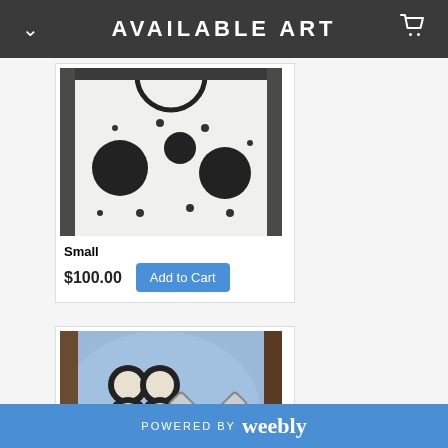AVAILABLE ART
[Figure (photo): Painting of a white surface with a large black circle at top and multiple scattered black dots and circles of various sizes below it]
Small
$100.00
[Figure (photo): Painting on blue background with four white circles arranged in a cluster on the left and a grey X shape on the right]
Small
POWERED BY weebly